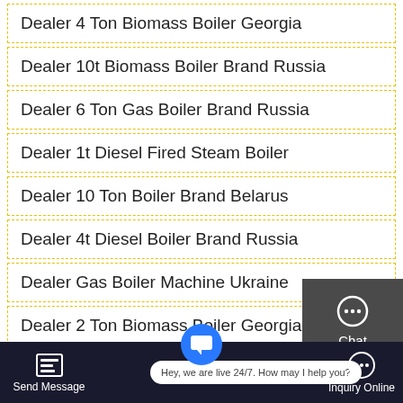Dealer 4 Ton Biomass Boiler Georgia
Dealer 10t Biomass Boiler Brand Russia
Dealer 6 Ton Gas Boiler Brand Russia
Dealer 1t Diesel Fired Steam Boiler
Dealer 10 Ton Boiler Brand Belarus
Dealer 4t Diesel Boiler Brand Russia
Dealer Gas Boiler Machine Ukraine
Dealer 2 Ton Biomass Boiler Georgia
Dealer 20t Diesel Boiler Brand Ukraine
[Figure (screenshot): Sidebar widget with Chat, Email, and Contact icons on dark gray background with red dividers]
[Figure (screenshot): Bottom bar with Send Message button, live chat bubble saying 'Hey, we are live 24/7. How may I help you?', and Inquiry Online button]